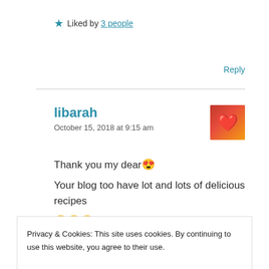★ Liked by 3 people
Reply
libarah
October 15, 2018 at 9:15 am
Thank you my dear 😍
Your blog too have lot and lots of delicious recipes 😊😊😊
Privacy & Cookies: This site uses cookies. By continuing to use this website, you agree to their use.
To find out more, including how to control cookies, see here: Cookie Policy
Close and accept
Nemo&Nancy